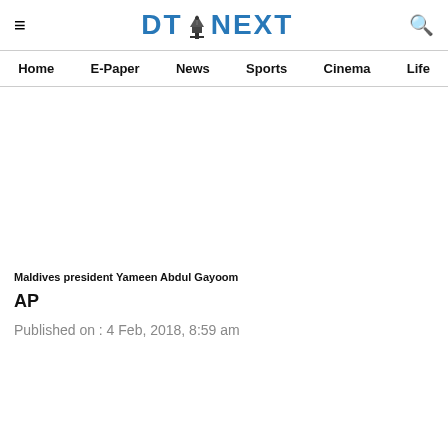≡  DT NEXT  🔍  Home  E-Paper  News  Sports  Cinema  Life
[Figure (photo): Photo of Maldives president Yameen Abdul Gayoom (image area appears blank/white in the scan)]
Maldives president Yameen Abdul Gayoom
AP
Published on : 4 Feb, 2018, 8:59 am